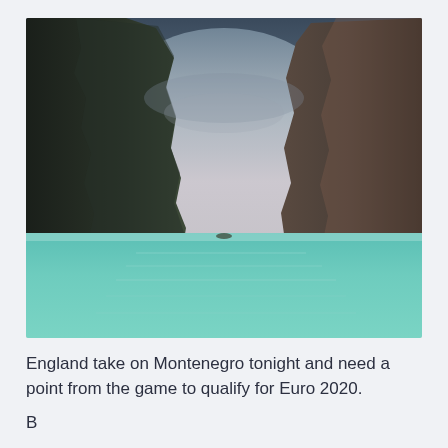[Figure (photo): Landscape photo of a tropical bay with turquoise-green water in the foreground, two large dark rocky limestone cliffs on the left and right sides, and a stormy grey-blue sky above with pale pink-white clouds in the center between the cliffs.]
England take on Montenegro tonight and need a point from the game to qualify for Euro 2020.
Beware the last line is cut off partially at the bottom.